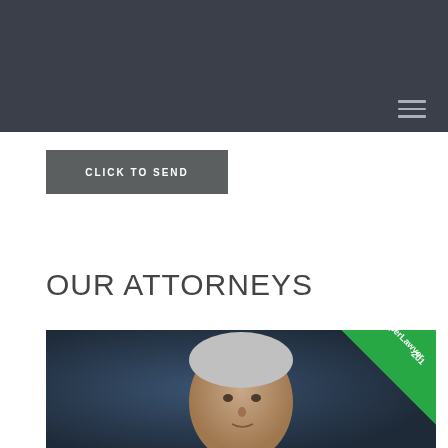CLICK TO SEND
OUR ATTORNEYS
[Figure (photo): Portrait photo of a middle-aged male attorney with gray hair against a dark blue background, with a green 'SuperLawyer 201' diagonal ribbon badge in the top-right corner]